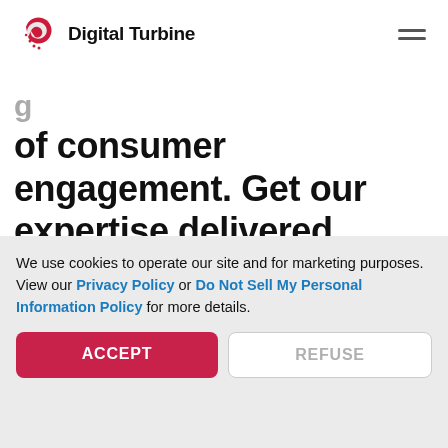Digital Turbine
of consumer engagement. Get our expertise delivered straight to you.
[Figure (other): Empty input text field with rounded border]
We use cookies to operate our site and for marketing purposes. View our Privacy Policy or Do Not Sell My Personal Information Policy for more details.
ACCEPT | REFUSE